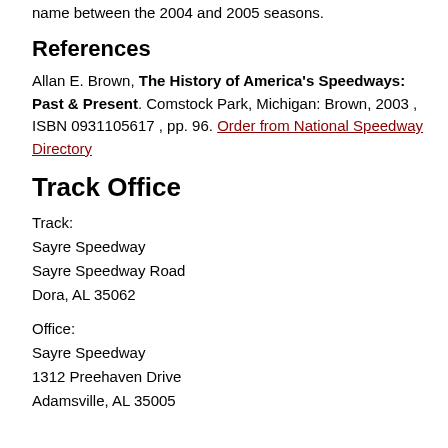name between the 2004 and 2005 seasons.
References
Allan E. Brown, The History of America's Speedways: Past & Present. Comstock Park, Michigan: Brown, 2003 , ISBN 0931105617 , pp. 96. Order from National Speedway Directory
Track Office
Track:
Sayre Speedway
Sayre Speedway Road
Dora, AL 35062
Office:
Sayre Speedway
1312 Preehaven Drive
Adamsville, AL 35005